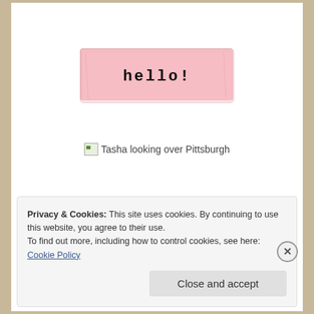[Figure (illustration): Pink washi tape / banner graphic with typewriter-font text reading 'hello!' centered on a pink rectangular label]
[Figure (photo): Broken image placeholder with alt text 'Tasha looking over Pittsburgh']
Privacy & Cookies: This site uses cookies. By continuing to use this website, you agree to their use.
To find out more, including how to control cookies, see here: Cookie Policy
Close and accept